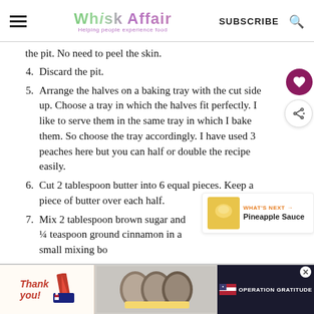Whisk Affair — Helping people experience food | SUBSCRIBE
the pit. No need to peel the skin.
4. Discard the pit.
5. Arrange the halves on a baking tray with the cut side up. Choose a tray in which the halves fit perfectly. I like to serve them in the same tray in which I bake them. So choose the tray accordingly. I have used 3 peaches here but you can half or double the recipe easily.
6. Cut 2 tablespoon butter into 6 equal pieces. Keep a piece of butter over each half.
7. Mix 2 tablespoon brown sugar and ¼ teaspoon ground cinnamon in a small mixing bowl.
8. Sprinkle this mixture over the peaches evenly. If using alcohol like bourbon, rum or brandy, pour a
[Figure (infographic): Advertisement banner at bottom: Thank you with Operation Gratitude imagery]